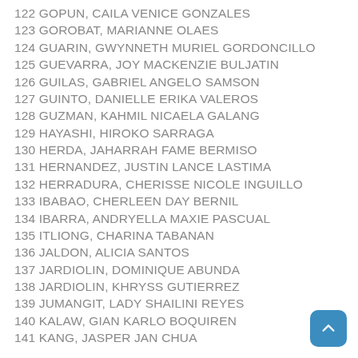122 GOPUN, CAILA VENICE GONZALES
123 GOROBAT, MARIANNE OLAES
124 GUARIN, GWYNNETH MURIEL GORDONCILLO
125 GUEVARRA, JOY MACKENZIE BULJATIN
126 GUILAS, GABRIEL ANGELO SAMSON
127 GUINTO, DANIELLE ERIKA VALEROS
128 GUZMAN, KAHMIL NICAELA GALANG
129 HAYASHI, HIROKO SARRAGA
130 HERDA, JAHARRAH FAME BERMISO
131 HERNANDEZ, JUSTIN LANCE LASTIMA
132 HERRADURA, CHERISSE NICOLE INGUILLO
133 IBABAO, CHERLEEN DAY BERNIL
134 IBARRA, ANDRYELLA MAXIE PASCUAL
135 ITLIONG, CHARINA TABANAN
136 JALDON, ALICIA SANTOS
137 JARDIOLIN, DOMINIQUE ABUNDA
138 JARDIOLIN, KHRYSS GUTIERREZ
139 JUMANGIT, LADY SHAILINI REYES
140 KALAW, GIAN KARLO BOQUIREN
141 KANG, JASPER JAN CHUA